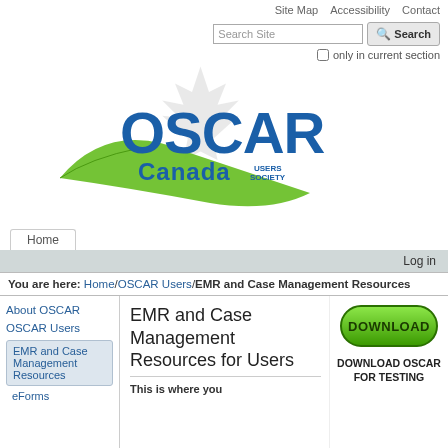Site Map   Accessibility   Contact
Search Site [search box]  Search  only in current section
[Figure (logo): OSCAR Canada Users Society logo with maple leaf and green swoosh]
Home [tab]
Log in
You are here: Home / OSCAR Users / EMR and Case Management Resources
About OSCAR
OSCAR Users
EMR and Case Management Resources
eForms
EMR and Case Management Resources for Users
[Figure (illustration): Green DOWNLOAD button]
DOWNLOAD OSCAR FOR TESTING
This is where you